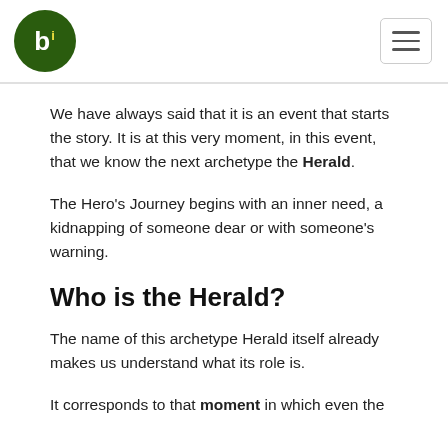bi
We have always said that it is an event that starts the story. It is at this very moment, in this event, that we know the next archetype the Herald.
The Hero's Journey begins with an inner need, a kidnapping of someone dear or with someone's warning.
Who is the Herald?
The name of this archetype Herald itself already makes us understand what its role is.
It corresponds to that moment in which even the